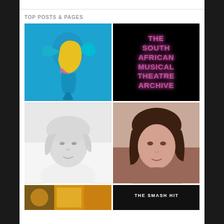TOP POSTS & PAGES
[Figure (illustration): Abstract colorful painting of a dancer figure in blue, yellow, and pink tones on a bright blue background]
[Figure (illustration): Black background with neon pink/magenta text reading 'THE SOUTH AFRICAN MUSICAL THEATRE ARCHIVE']
[Figure (photo): Black and white headshot portrait of a blonde woman smiling]
[Figure (photo): Color portrait headshot of a young woman with dark brown hair]
[Figure (illustration): Partial view of a colorful image with yellow and black tones, partially cropped at bottom of page]
[Figure (illustration): Partial view of a dark image with text 'THE SMASH HIT', partially cropped at bottom of page]